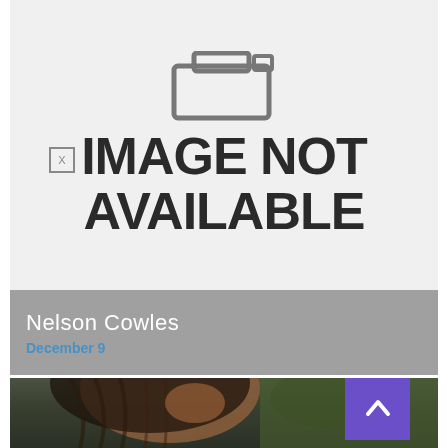[Figure (illustration): Image not available placeholder with gray background, showing a broken image icon and the text IMAGE NOT AVAILABLE in large bold letters, with a small [X] icon on the left]
Nelson Cowles
December 9
[Figure (photo): Partial photo of a person with braided hair looking upward, with a blurred outdoor background. A purple back-to-top button with an upward chevron is overlaid in the bottom-right corner.]